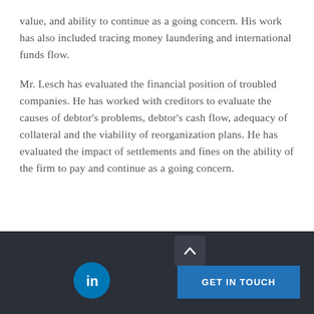value, and ability to continue as a going concern. His work has also included tracing money laundering and international funds flow.
Mr. Lesch has evaluated the financial position of troubled companies. He has worked with creditors to evaluate the causes of debtor's problems, debtor's cash flow, adequacy of collateral and the viability of reorganization plans. He has evaluated the impact of settlements and fines on the ability of the firm to pay and continue as a going concern.
GET IN TOUCH